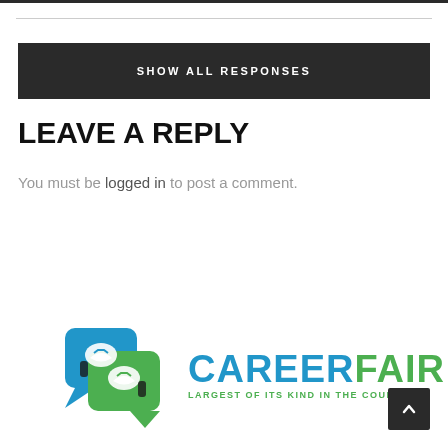SHOW ALL RESPONSES
LEAVE A REPLY
You must be logged in to post a comment.
[Figure (logo): CareerFair logo with speech bubble icons and text 'CAREERFAIR LARGEST OF ITS KIND IN THE COUNTRY']